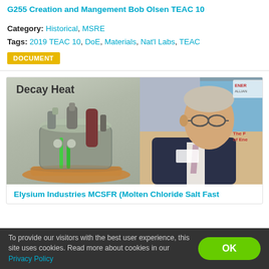G255 Creation and Mangement Bob Olsen TEAC 10
Category: Historical, MSRE
Tags: 2019 TEAC 10, DoE, Materials, Nat'l Labs, TEAC
DOCUMENT
[Figure (photo): Left half: 3D diagram of a reactor labeled 'Decay Heat' with cylindrical vessels and green piping on a gray/beige background. Right half: Photo of a middle-aged man with gray hair, glasses, wearing a dark suit and patterned tie, speaking at a conference with a screen visible behind him.]
Elysium Industries MCSFR (Molten Chloride Salt Fast
To provide our visitors with the best user experience, this site uses cookies. Read more about cookies in our Privacy Policy